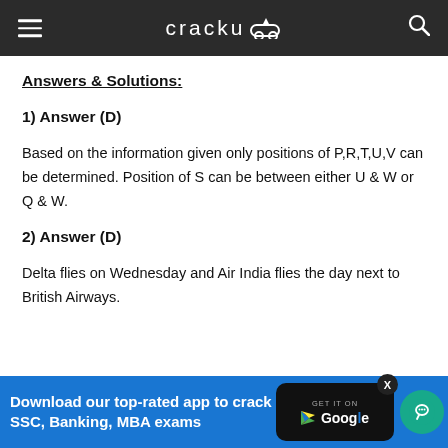cracku
Answers & Solutions:
1) Answer (D)
Based on the information given only positions of P,R,T,U,V can be determined. Position of S can be between either U & W or Q & W.
2) Answer (D)
Delta flies on Wednesday and Air India flies the day next to British Airways.
[Figure (infographic): Blue advertisement banner: 'Download our top-rated app to crack SSC, Banking, MBA exams' with Google Play badge and chat icon]